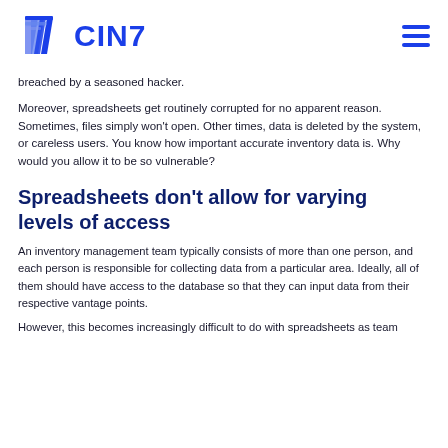CIN7
breached by a seasoned hacker.
Moreover, spreadsheets get routinely corrupted for no apparent reason. Sometimes, files simply won't open. Other times, data is deleted by the system, or careless users. You know how important accurate inventory data is. Why would you allow it to be so vulnerable?
Spreadsheets don't allow for varying levels of access
An inventory management team typically consists of more than one person, and each person is responsible for collecting data from a particular area. Ideally, all of them should have access to the database so that they can input data from their respective vantage points.
However, this becomes increasingly difficult to do with spreadsheets as team